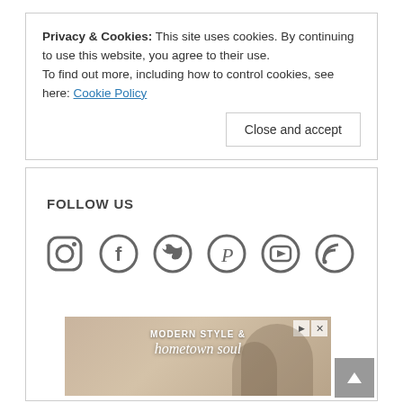Privacy & Cookies: This site uses cookies. By continuing to use this website, you agree to their use.
To find out more, including how to control cookies, see here: Cookie Policy
Close and accept
FOLLOW US
[Figure (infographic): Social media icons row: Instagram, Facebook, Twitter, Pinterest, YouTube, RSS]
[Figure (photo): Advertisement image showing interior scene with two people and text 'MODERN STYLE & hometown soul']